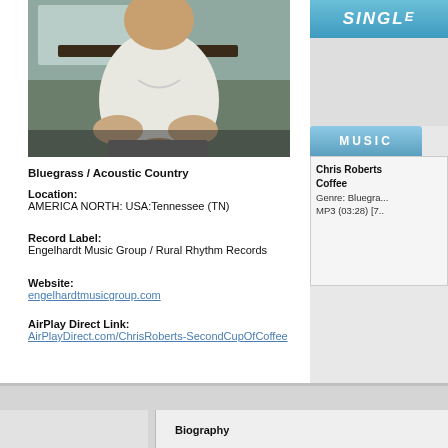[Figure (photo): Man in white t-shirt sitting at a table, hands clasped, casual pose indoors]
Bluegrass / Acoustic Country
Location:
AMERICA NORTH: USA:Tennessee (TN)
Record Label:
Engelhardt Music Group / Rural Rhythm Records
Website:
engelhardtmusicgroup.com
AirPlay Direct Link:
AirPlayDirect.com/ChrisRoberts-SecondCupOfCoffee
[Figure (other): SINGLE banner in blue]
MUSIC
Chris Roberts
Coffee
Genre: Bluegra...
MP3 (03:28) [7....
Click here to do...
Biography